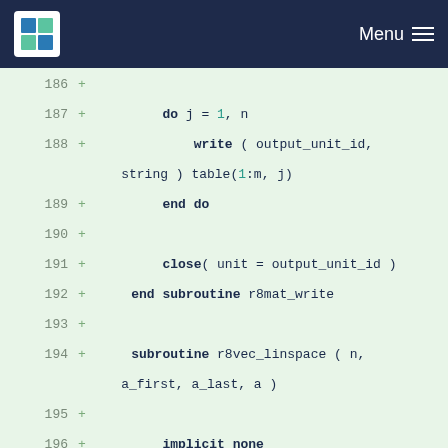Menu
[Figure (screenshot): Code diff viewer showing Fortran subroutine code lines 186-203 with added lines marked with + sign]
186 +
187 +         do j = 1, n
188 +             write ( output_unit_id, string ) table(1:m, j)
189 +         end do
190 +
191 +         close( unit = output_unit_id )
192 +     end subroutine r8mat_write
193 +
194 +     subroutine r8vec_linspace ( n, a_first, a_last, a )
195 +
196 +         implicit none
197 +
198 +         integer :: n
199 +         double precision :: a(n)
200 +         double precision :: a_first
201 +         double precision :: a_last
202 +         integer :: i
203 +